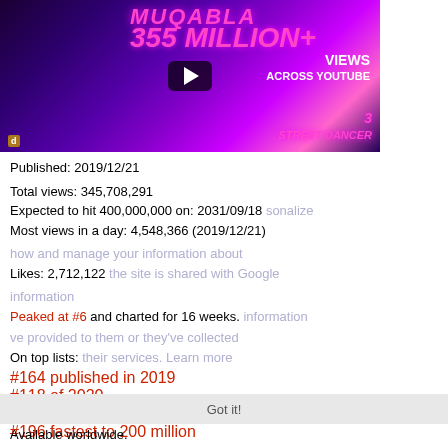[Figure (screenshot): YouTube video thumbnail for Street Dancer 3 - Muqabla song, showing 355 Million+ Views across YouTube with dancers in neon purple/pink lighting]
Published: 2019/12/21
Total views: 345,708,291
Expected to hit 400,000,000 on: 2031/09/18
Most views in a day: 4,548,366 (2019/12/21)
Likes: 2,712,122
Peaked at #6 and charted for 16 weeks.
On top lists:
#164 published in 2019
#118 of 2020
#186 fastest to 100 million
#196 fastest to 200 million
Available worldwide.